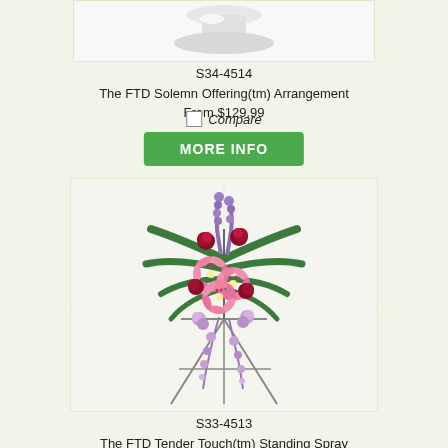[Figure (photo): Partial view of a white floral arrangement on a pedestal, cropped at top]
S34-4514
The FTD Solemn Offering(tm) Arrangement
From $129.99
Compare
MORE INFO
[Figure (photo): A large standing spray floral arrangement featuring pink stargazer lilies, purple delphinium, dark red roses, and trailing wisteria on a metal easel stand, against a white background]
S33-4513
The FTD Tender Touch(tm) Standing Spray